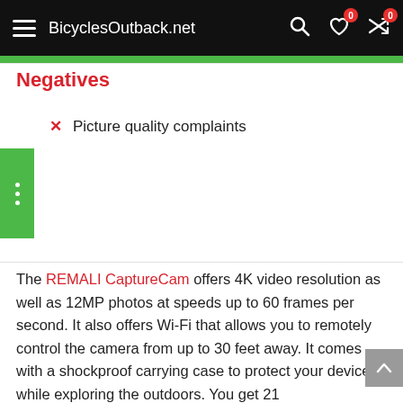BicyclesOutback.net
Negatives
Picture quality complaints
The REMALI CaptureCam offers 4K video resolution as well as 12MP photos at speeds up to 60 frames per second. It also offers Wi-Fi that allows you to remotely control the camera from up to 30 feet away. It comes with a shockproof carrying case to protect your device while exploring the outdoors. You get 21 accessories/mounts that'll give you multiple options to record your adventure. The mobile app is available for iOS and Android devices